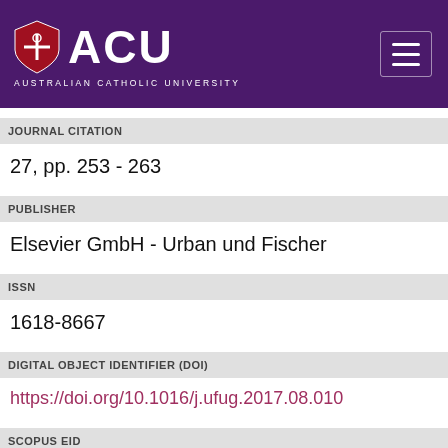ACU AUSTRALIAN CATHOLIC UNIVERSITY
JOURNAL CITATION
27, pp. 253 - 263
PUBLISHER
Elsevier GmbH - Urban und Fischer
ISSN
1618-8667
DIGITAL OBJECT IDENTIFIER (DOI)
https://doi.org/10.1016/j.ufug.2017.08.010
SCOPUS EID
2-s2.0-85028762787
PAGE RANGE